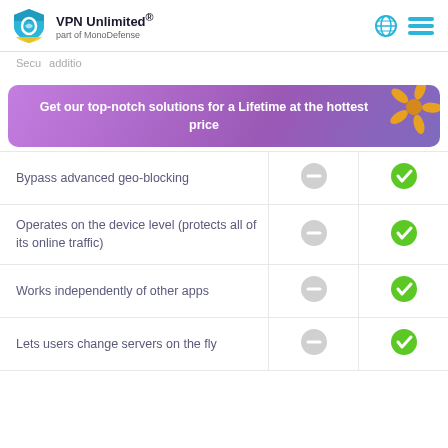VPN Unlimited® part of MonoDefense
[Figure (infographic): Purple promotional banner with text: Get our top-notch solutions for a Lifetime at the hottest price, with a starfish decoration in the top-right corner]
| Feature | Col1 | Col2 |
| --- | --- | --- |
| Bypass advanced geo-blocking | minus | check |
| Operates on the device level (protects all of its online traffic) | minus | check |
| Works independently of other apps | minus | check |
| Lets users change servers on the fly | minus | check |